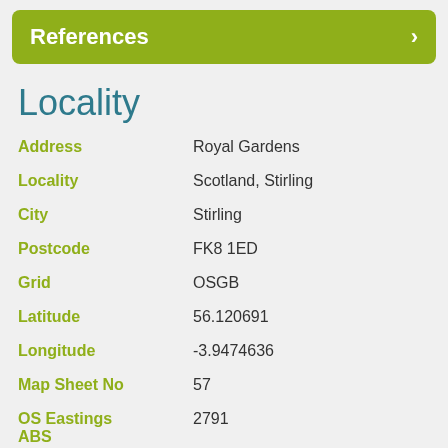References
Locality
Address: Royal Gardens
Locality: Scotland, Stirling
City: Stirling
Postcode: FK8 1ED
Grid: OSGB
Latitude: 56.120691
Longitude: -3.9474636
Map Sheet No: 57
OS Eastings ABS: 2791